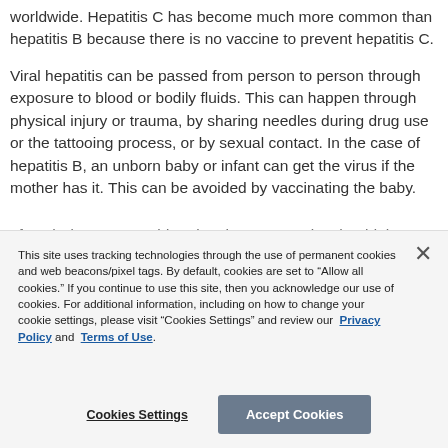worldwide. Hepatitis C has become much more common than hepatitis B because there is no vaccine to prevent hepatitis C.

Viral hepatitis can be passed from person to person through exposure to blood or bodily fluids. This can happen through physical injury or trauma, by sharing needles during drug use or the tattooing process, or by sexual contact. In the case of hepatitis B, an unborn baby or infant can get the virus if the mother has it. This can be avoided by vaccinating the baby.
(partial line, obscured by cookie banner)
This site uses tracking technologies through the use of permanent cookies and web beacons/pixel tags. By default, cookies are set to “Allow all cookies.” If you continue to use this site, then you acknowledge our use of cookies. For additional information, including on how to change your cookie settings, please visit “Cookies Settings” and review our Privacy Policy and Terms of Use.
Cookies Settings
Accept Cookies